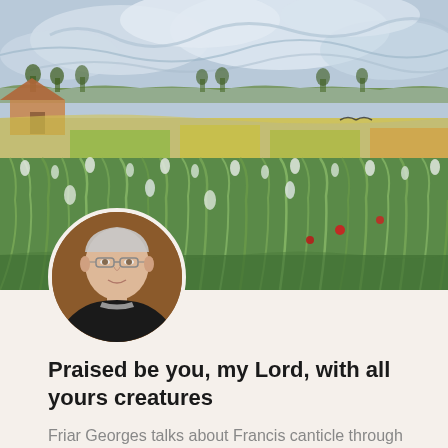[Figure (illustration): Van Gogh style painting of a vast wheat field with swirling sky, farmhouses, and fields in impressionist style with blues, greens, yellows and whites]
[Figure (photo): Circular portrait photo of an elderly friar/monk with glasses and white hair, wearing dark religious habit, with warm brown background]
Praised be you, my Lord, with all yours creatures
Friar Georges talks about Francis canticle through